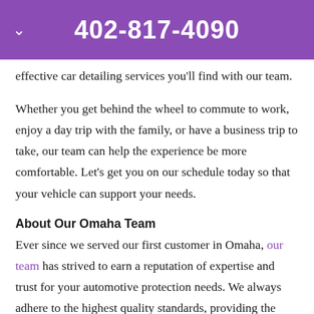402-817-4090
effective car detailing services you'll find with our team.
Whether you get behind the wheel to commute to work, enjoy a day trip with the family, or have a business trip to take, our team can help the experience be more comfortable. Let's get you on our schedule today so that your vehicle can support your needs.
About Our Omaha Team
Ever since we served our first customer in Omaha, our team has strived to earn a reputation of expertise and trust for your automotive protection needs. We always adhere to the highest quality standards, providing the